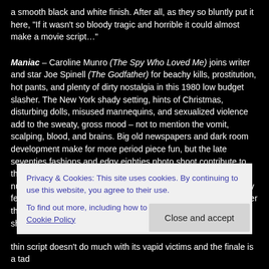a smooth black and white finish. After all, as they so bluntly put it here, "If it wasn't so bloody tragic and horrible it could almost make a movie script…"
Maniac – Caroline Munro (The Spy Who Loved Me) joins writer and star Joe Spinell (The Godfather) for beachy kills, prostitution, hot pants, and plenty of dirty nostalgia in this 1980 low budget slasher. The New York shady setting, hints of Christmas, disturbing dolls, misused mannequins, and sexualized violence add to the sweaty, gross mood – not to mention the vomit, scalping, blood, and brains. Big old newspapers and dark room development make for more period piece fun, but the late seventies fashions and edgy eighties photo shoot contribute to the drive by cheap production values. Though the very brief nudity and little harsh language belie the explotation tone or may feel tame today, the conflicted perversions, talking to oneself over the killings, and a childlike stunted warp accent the gruesome shot gun blasts and not for the
Privacy & Cookies: This site uses cookies. By continuing to use this website, you agree to their use.
To find out more, including how to control cookies, see here: Cookie Policy
thin script doesn't do much with its vapid victims and the finale is a tad